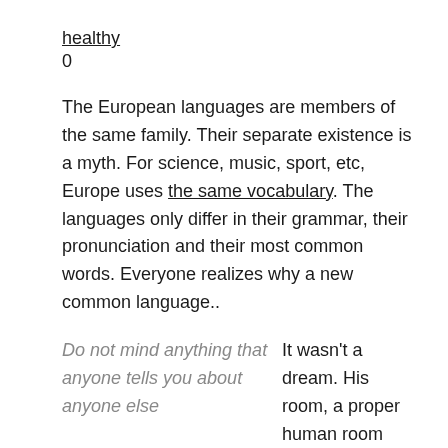healthy
0
The European languages are members of the same family. Their separate existence is a myth. For science, music, sport, etc, Europe uses the same vocabulary. The languages only differ in their grammar, their pronunciation and their most common words. Everyone realizes why a new common language..
Do not mind anything that anyone tells you about anyone else
It wasn't a dream. His room, a proper human room although a little too small, lay peacefully between its four familiar walls. A collection of textile samples lay spread out on the table – Samsa was a travelling salesman – and above it there hung a picture that he had recently cut out of an illustrated magazine